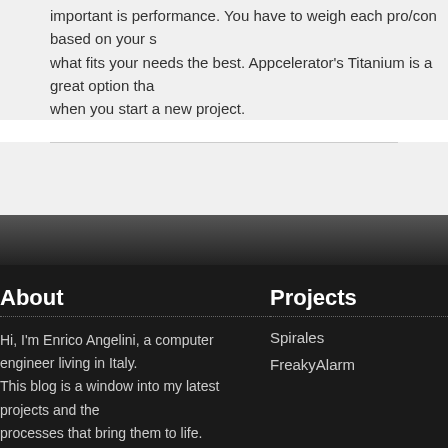important is performance. You have to weigh each pro/con based on your specific needs and what fits your needs the best. Appcelerator's Titanium is a great option that you should consider when you start a new project.
About
Projects
Hi, I'm Enrico Angelini, a computer engineer living in Italy. This blog is a window into my latest projects and the processes that bring them to life.
Spirales
FreakyAlarm
This website uses cookies to offer you the best experience online. By continuing to use our website, you agree to the use of cookies. | Close